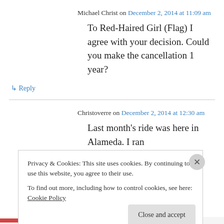Michael Christ on December 2, 2014 at 11:09 am
To Red-Haired Girl (Flag) I agree with your decision. Could you make the cancellation 1 year?
↳ Reply
Christoverre on December 2, 2014 at 12:30 am
Last month's ride was here in Alameda. I ran
Privacy & Cookies: This site uses cookies. By continuing to use this website, you agree to their use. To find out more, including how to control cookies, see here: Cookie Policy
Close and accept